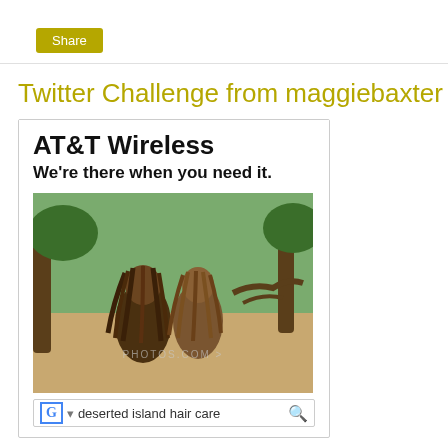Share
Twitter Challenge from maggiebaxter
[Figure (screenshot): AT&T Wireless meme image showing two people with dreadlocks on a deserted island, with text 'AT&T Wireless - We're there when you need it.' and a Google search bar at the bottom showing search query 'deserted island hair care']
No comments: